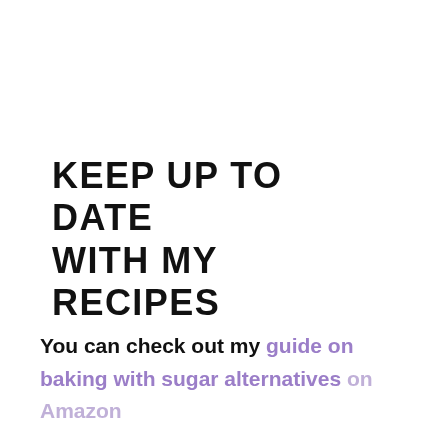KEEP UP TO DATE WITH MY RECIPES
You can check out my guide on baking with sugar alternatives on Amazon